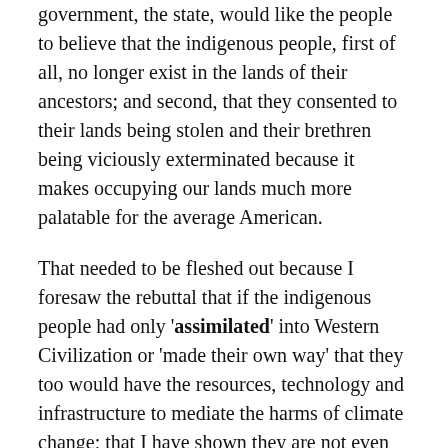government, the state, would like the people to believe that the indigenous people, first of all, no longer exist in the lands of their ancestors; and second, that they consented to their lands being stolen and their brethren being viciously exterminated because it makes occupying our lands much more palatable for the average American.
That needed to be fleshed out because I foresaw the rebuttal that if the indigenous people had only 'assimilated' into Western Civilization or 'made their own way' that they too would have the resources, technology and infrastructure to mediate the harms of climate change; that I have shown they are not even responsible for. So, that argument will not work here.
This now brings us full-circle back to the issue of causality and the fact that the Global North is engaged in Environmental Racism against the Global South. Racism does not require that the person or group responsible for